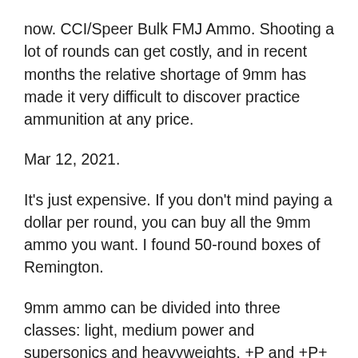now. CCI/Speer Bulk FMJ Ammo. Shooting a lot of rounds can get costly, and in recent months the relative shortage of 9mm has made it very difficult to discover practice ammunition at any price.
Mar 12, 2021.
It's just expensive. If you don't mind paying a dollar per round, you can buy all the 9mm ammo you want. I found 50-round boxes of Remington.
9mm ammo can be divided into three classes: light, medium power and supersonics and heavyweights. +P and +P+ are best reserved for full-sized pistols. Invented in 1904, the 9mm Parabellum came about